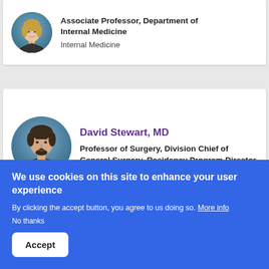[Figure (photo): Circular profile photo of a woman (Associate Professor, Department of Internal Medicine) with blonde hair, wearing a blazer and necklace, against a blue background]
Associate Professor, Department of Internal Medicine
Internal Medicine
[Figure (photo): Circular profile photo of David Stewart, MD — a man with dark hair and beard, wearing a suit and tie, against a blue background]
David Stewart, MD
Professor of Surgery, Division Chief of General Surgery, Residency Program Director
We use cookies on this site to enhance your user experience
By clicking the accept button, you agree to us doing so. More info
No thanks
Accept